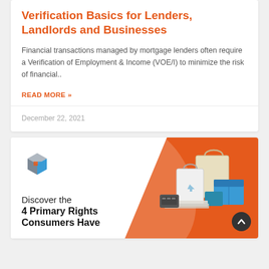Verification Basics for Lenders, Landlords and Businesses
Financial transactions managed by mortgage lenders often require a Verification of Employment & Income (VOE/I) to minimize the risk of financial..
READ MORE »
December 22, 2021
[Figure (illustration): Promotional banner with orange background, a company logo (geometric cube shape), shopping bags and boxes illustration, and text 'Discover the 4 Primary Rights Consumers Have']